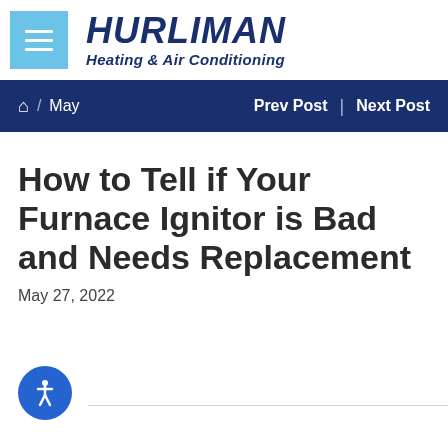[Figure (logo): Hurliman Heating & Air Conditioning logo with menu hamburger button and company name in bold italic dark blue text]
🏠 / May   Prev Post | Next Post
How to Tell if Your Furnace Ignitor is Bad and Needs Replacement
May 27, 2022
[Figure (illustration): Blue circular accessibility icon button with a person figure in white]